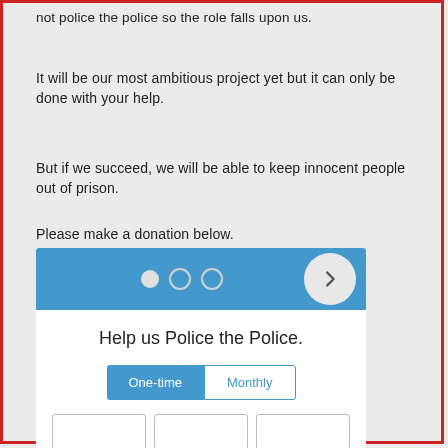not police the police so the role falls upon us.
It will be our most ambitious project yet but it can only be done with your help.
But if we succeed, we will be able to keep innocent people out of prison.
Please make a donation below.
[Figure (screenshot): Donation widget with blue header bar showing navigation dots and arrow button, white card below with title 'Help us Police the Police.', One-time/Monthly toggle buttons, and three empty amount input boxes at bottom.]